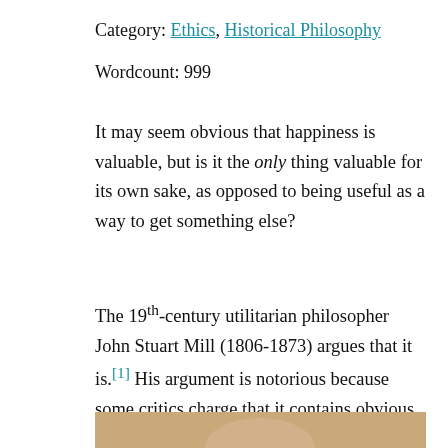Category: Ethics, Historical Philosophy
Wordcount: 999
It may seem obvious that happiness is valuable, but is it the only thing valuable for its own sake, as opposed to being useful as a way to get something else?
The 19th-century utilitarian philosopher John Stuart Mill (1806-1873) argues that it is.[1] His argument is notorious because some critics charge that it contains obvious errors. This essay considers whether Mill really makes elementary blunders.
[Figure (photo): Partial view of a portrait painting of John Stuart Mill with a beige/tan background, showing the top portion of the figure.]